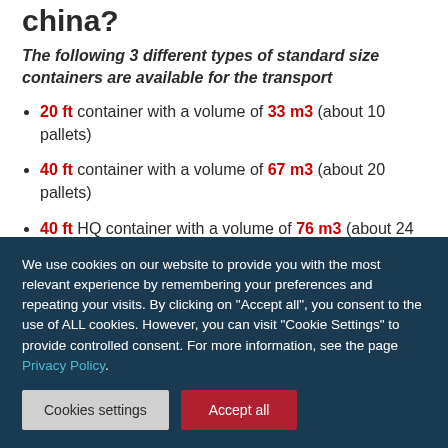china?
The following 3 different types of standard size containers are available for the transport
20 ft container with a volume of 33 m3 (about 10 pallets)
40 ft container with a volume of 67 m3 (about 20 pallets)
40 ft HQ container with a volume of 76 m3 (about 24 pallets)
We use cookies on our website to provide you with the most relevant experience by remembering your preferences and repeating your visits. By clicking on "Accept all", you consent to the use of ALL cookies. However, you can visit "Cookie Settings" to provide controlled consent. For more information, see the page Privacy Policy.